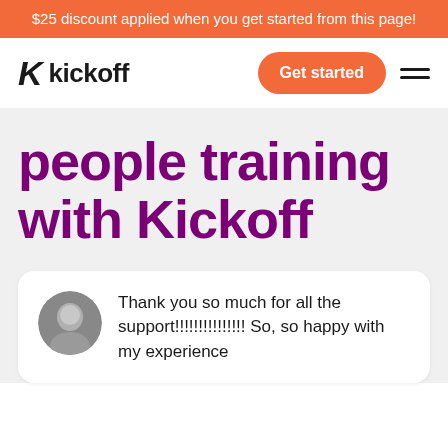$25 discount applied when you get started from this page!
[Figure (logo): Kickoff logo with stylized K icon and wordmark 'kickoff' in bold dark text]
Get started
people training with Kickoff
Thank you so much for all the support!!!!!!!!!!!!!!! So, so happy with my experience